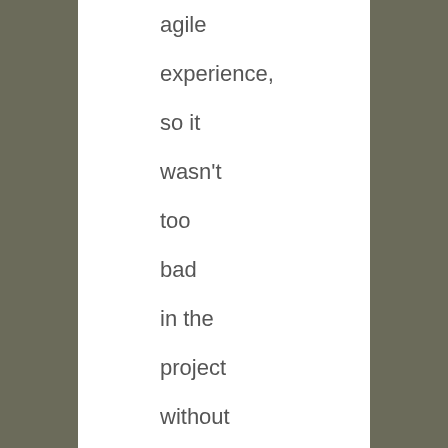agile experience, so it wasn't too bad in the project without a certification ;-). Thus I came back with new ideas and answers and